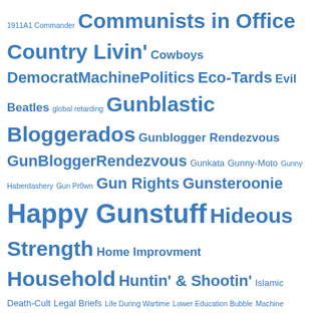1911A1 Commander Communists in Office Country Livin' Cowboys DemocratMachinePolitics Eco-Tards Evil Beatles global retarding Gunblastic Bloggerados Gunblogger Rendezvous GunBloggerRendezvous Gunkata Gunny-Moto Gunny Haberdashery Gun Pr0wn Gun Rights Gunsteroonie Happy Gunstuff Hideous Strength Home Improvment Household Huntin' & Shootin' Islamic Death-Cult Legal Briefs Life During Wartime Lower Education Bubble Machine Politics Magazines Mechanicalissimo Media Political Machine Motorcycles Nature Nimrods and Bozons Nitwits Old-School Old-School stuff Old School Communists Old School Rifles Painful